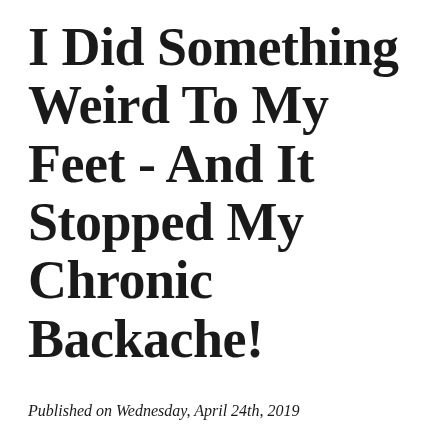I Did Something Weird To My Feet - And It Stopped My Chronic Backache!
Published on Wednesday, April 24th, 2019